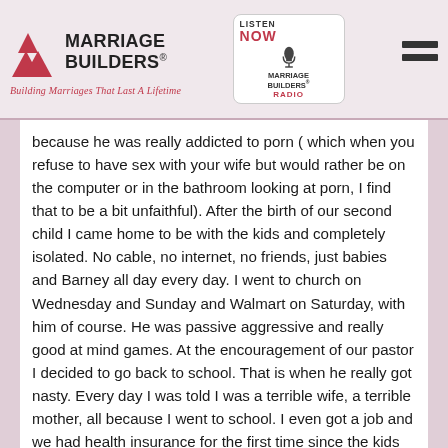Marriage Builders® — Building Marriages That Last A Lifetime | Listen Now — Marriage Builders Radio
because he was really addicted to porn ( which when you refuse to have sex with your wife but would rather be on the computer or in the bathroom looking at porn, I find that to be a bit unfaithful). After the birth of our second child I came home to be with the kids and completely isolated. No cable, no internet, no friends, just babies and Barney all day every day. I went to church on Wednesday and Sunday and Walmart on Saturday, with him of course. He was passive aggressive and really good at mind games. At the encouragement of our pastor I decided to go back to school. That is when he really got nasty. Every day I was told I was a terrible wife, a terrible mother, all because I went to school. I even got a job and we had health insurance for the first time since the kids were born, but still I was a terrible person. Over time I began to believe him. I was on 2 different anti-depressants a day